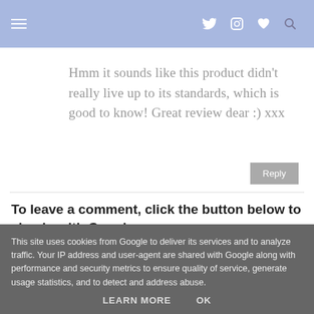Navigation bar with menu icon, Twitter, Instagram, heart, and search icons
Hmm it sounds like this product didn't really live up to its standards, which is good to know! Great review dear :) xxx
Reply
To leave a comment, click the button below to sign in with Google.
SIGN IN WITH GOOGLE
This site uses cookies from Google to deliver its services and to analyze traffic. Your IP address and user-agent are shared with Google along with performance and security metrics to ensure quality of service, generate usage statistics, and to detect and address abuse.
LEARN MORE   OK